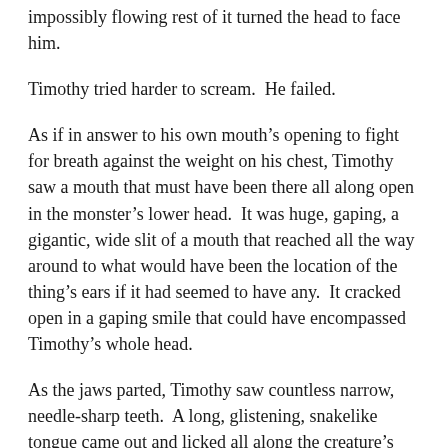impossibly flowing rest of it turned the head to face him.
Timothy tried harder to scream.  He failed.
As if in answer to his own mouth’s opening to fight for breath against the weight on his chest, Timothy saw a mouth that must have been there all along open in the monster’s lower head.  It was huge, gaping, a gigantic, wide slit of a mouth that reached all the way around to what would have been the location of the thing’s ears if it had seemed to have any.  It cracked open in a gaping smile that could have encompassed Timothy’s whole head.
As the jaws parted, Timothy saw countless narrow, needle-sharp teeth.  A long, glistening, snakelike tongue came out and licked all along the creature’s upper lip.
In addition to the terror that set his heart racing and made him wish he could howl and shriek with terror, Timothy now felt a